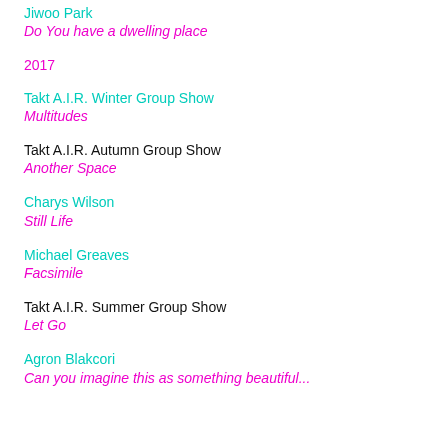Jiwoo Park
Do You have a dwelling place
2017
Takt A.I.R. Winter Group Show
Multitudes
Takt A.I.R. Autumn Group Show
Another Space
Charys Wilson
Still Life
Michael Greaves
Facsimile
Takt A.I.R. Summer Group Show
Let Go
Agron Blakcori
Can you imagine this as something beautiful...